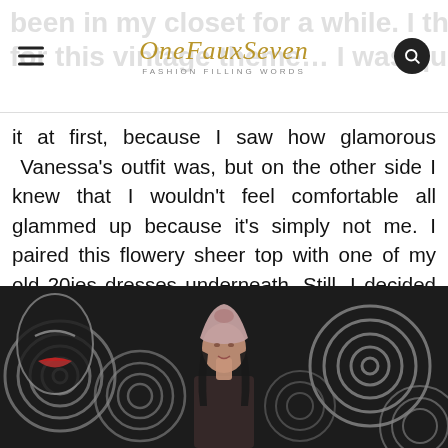OneFauxSeven — FASHION FILLING WORDS
been in my closet for a while. I thought why not do the same for this vintage theme… I was quite unsure about it at first, because I saw how glamorous Vanessa's outfit was, but on the other side I knew that I wouldn't feel comfortable all glammed up because it's simply not me. I paired this flowery sheer top with one of my old 20ies dresses underneath. Still, I decided to wear the dress paired with denims to create a vintage inspired street style look. To almost complete the look I thought I'd use another vintage piece: my mothers dressing gown – but as a kimono. It was just perfect timing when this piece arrived to complete my 20ies inspired look: the beautiful turban by HatsByBSR.
[Figure (photo): Woman wearing a pink turban hat standing in front of a black and white graffiti mural featuring a stylized face with swirls]